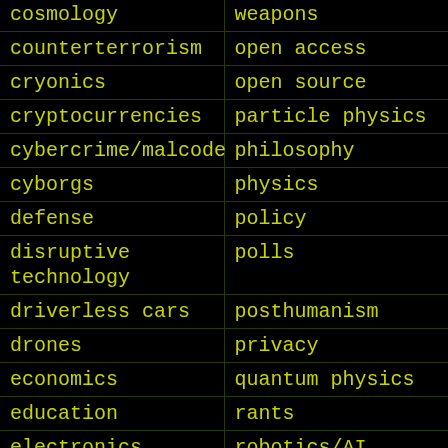| cosmology | weapons |
| counterterrorism | open access |
| cryonics | open source |
| cryptocurrencies | particle physics |
| cybercrime/malcode | philosophy |
| cyborgs | physics |
| defense | policy |
| disruptive technology | polls |
| driverless cars | posthumanism |
| drones | privacy |
| economics | quantum physics |
| education | rants |
| electronics | robotics/AI |
| employment | satellites |
| encryption | science |
| energy | scientific freedom |
| engineering | security |
| entertainment |  |